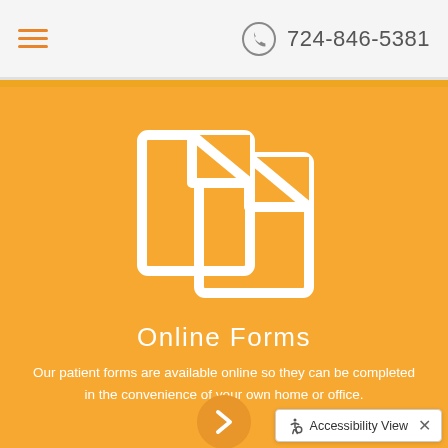724-846-5381
[Figure (illustration): Two overlapping document/form pages icon in white on orange background]
Online Forms
Our patient forms are available online so they can be completed in the convenience of your own home or office.
[Figure (illustration): Orange circle with white right-arrow chevron]
Accessibility View